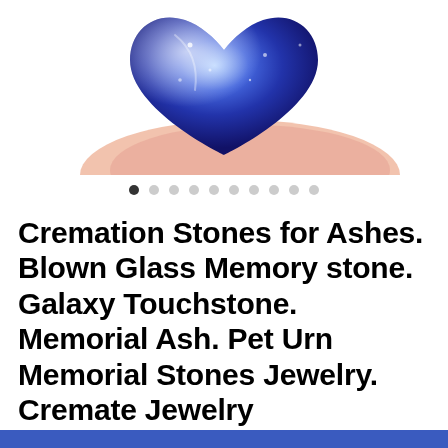[Figure (photo): Close-up photo of a blue galaxy glass cremation stone (heart-shaped) resting on a finger, partially cropped at top]
[Figure (other): Image carousel dot indicators: 10 dots, first dot is filled/dark, rest are light gray]
Cremation Stones for Ashes. Blown Glass Memory stone. Galaxy Touchstone. Memorial Ash. Pet Urn Memorial Stones Jewelry. Cremate Jewelry
$132.00 $165.00
Shipping to United States: Free